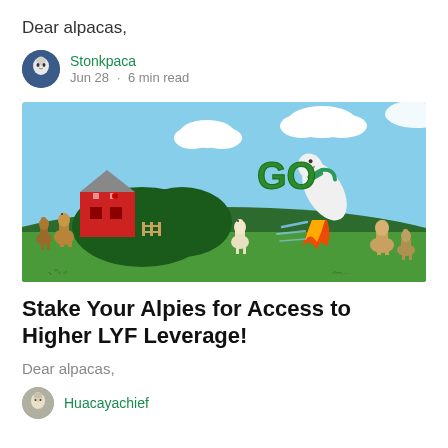Dear alpacas,
Stonkpaca
Jun 28 · 6 min read
[Figure (illustration): Cartoon illustration of alpacas on a farm. A white alpaca wearing a green scarf is flying like a rocket with fire shooting from its feet, with the word GO in large green letters nearby. A red barn, green trees, mountains, and other alpacas are in the background on green grass under a blue sky with white clouds.]
Stake Your Alpies for Access to Higher LYF Leverage!
Dear alpacas,
Huacayachief